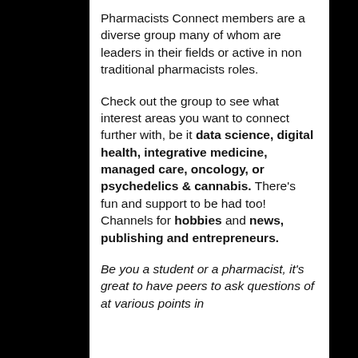Pharmacists Connect members are a diverse group many of whom are leaders in their fields or active in non traditional pharmacists roles.
Check out the group to see what interest areas you want to connect further with, be it data science, digital health, integrative medicine, managed care, oncology, or psychedelics & cannabis. There's fun and support to be had too! Channels for hobbies and news, publishing and entrepreneurs.
Be you a student or a pharmacist, it's great to have peers to ask questions of at various points in